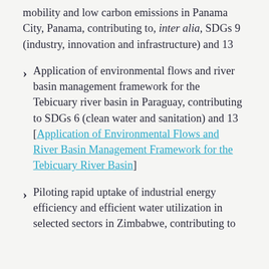mobility and low carbon emissions in Panama City, Panama, contributing to, inter alia, SDGs 9 (industry, innovation and infrastructure) and 13
Application of environmental flows and river basin management framework for the Tebicuary river basin in Paraguay, contributing to SDGs 6 (clean water and sanitation) and 13 [Application of Environmental Flows and River Basin Management Framework for the Tebicuary River Basin]
Piloting rapid uptake of industrial energy efficiency and efficient water utilization in selected sectors in Zimbabwe, contributing to